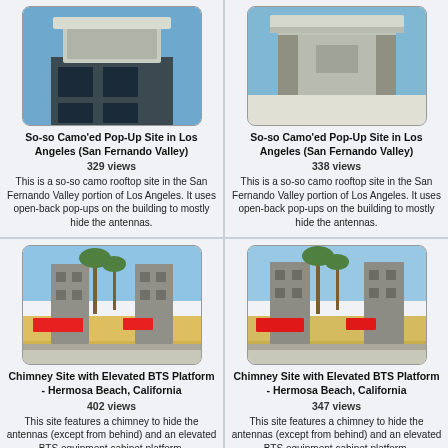mostly hide the antennas.
[Figure (photo): Rooftop building with concrete pop-up structure, San Fernando Valley, Los Angeles]
So-so Camo'ed Pop-Up Site in Los Angeles (San Fernando Valley)
329 views
This is a so-so camo rooftop site in the San Fernando Valley portion of Los Angeles. It uses open-back pop-ups on the building to mostly hide the antennas.
[Figure (photo): Rooftop building with concrete pop-up structure, San Fernando Valley, Los Angeles (alternate angle)]
So-so Camo'ed Pop-Up Site in Los Angeles (San Fernando Valley)
338 views
This is a so-so camo rooftop site in the San Fernando Valley portion of Los Angeles. It uses open-back pop-ups on the building to mostly hide the antennas.
[Figure (photo): Chimney site with elevated BTS platform, Hermosa Beach California]
Chimney Site with Elevated BTS Platform - Hermosa Beach, California
402 views
This site features a chimney to hide the antennas (except from behind) and an elevated BTS equipment cabinet platform.
[Figure (photo): Chimney site with elevated BTS platform, Hermosa Beach California (alternate angle)]
Chimney Site with Elevated BTS Platform - Hermosa Beach, California
347 views
This site features a chimney to hide the antennas (except from behind) and an elevated BTS equipment cabinet platform.
[Figure (photo): Street lamp area with palm trees, partially visible]
[Figure (photo): Street lamp area with palm trees, partially visible (alternate angle)]